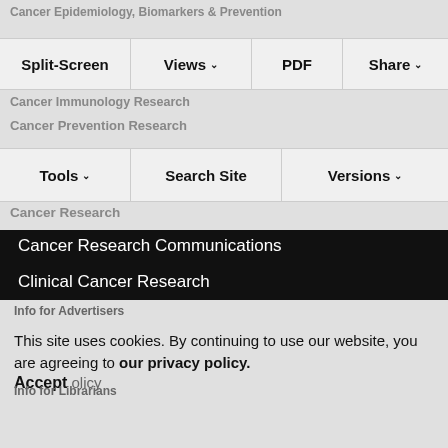Cancer Epidemiology, Biomarkers & Prevention
Split-Screen | Views | PDF | Share
Cancer Immunology Research
Cancer Prevention Research
Tools | Search Site | Versions
Cancer Research
Cancer Research Communications
Clinical Cancer Research
Molecular Cancer Research
Molecular Cancer Therapeutics
Info for Advertisers
This site uses cookies. By continuing to use our website, you are agreeing to our privacy policy.
Info for Librarians
Accept olicy